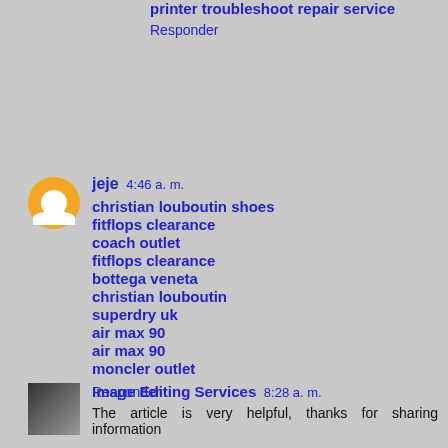printer troubleshoot repair service
Responder
jeje 4:46 a. m.
christian louboutin shoes
fitflops clearance
coach outlet
fitflops clearance
bottega veneta
christian louboutin
superdry uk
air max 90
air max 90
moncler outlet
Responder
Image Editing Services 8:28 a. m.
The article is very helpful, thanks for sharing information